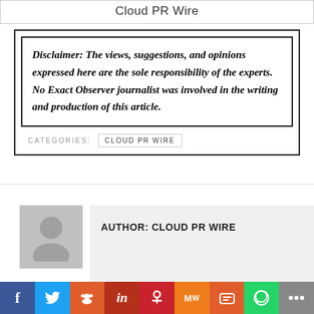Cloud PR Wire
Disclaimer: The views, suggestions, and opinions expressed here are the sole responsibility of the experts. No Exact Observer journalist was involved in the writing and production of this article.
CATEGORIES: CLOUD PR WIRE
AUTHOR: CLOUD PR WIRE
[Figure (infographic): Social sharing bar with icons for Facebook, Twitter, Reddit, LinkedIn, Pinterest, MeWe, Mix, WhatsApp, and More]